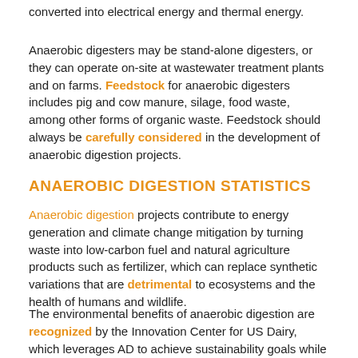converted into electrical energy and thermal energy.
Anaerobic digesters may be stand-alone digesters, or they can operate on-site at wastewater treatment plants and on farms. Feedstock for anaerobic digesters includes pig and cow manure, silage, food waste, among other forms of organic waste. Feedstock should always be carefully considered in the development of anaerobic digestion projects.
ANAEROBIC DIGESTION STATISTICS
Anaerobic digestion projects contribute to energy generation and climate change mitigation by turning waste into low-carbon fuel and natural agriculture products such as fertilizer, which can replace synthetic variations that are detrimental to ecosystems and the health of humans and wildlife.
The environmental benefits of anaerobic digestion are recognized by the Innovation Center for US Dairy, which leverages AD to achieve sustainability goals while providing a